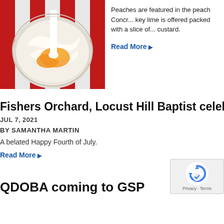[Figure (photo): Overhead view of a bowl of creamy dessert with peach slices being stirred with a white spoon, set on a red and white striped background]
Peaches are featured in the peach Concr... key lime is offered packed with a slice of... custard.
Read More
Fishers Orchard, Locust Hill Baptist celebrate...
JUL 7, 2021
BY SAMANTHA MARTIN
A belated Happy Fourth of July.
Read More
QDOBA coming to GSP